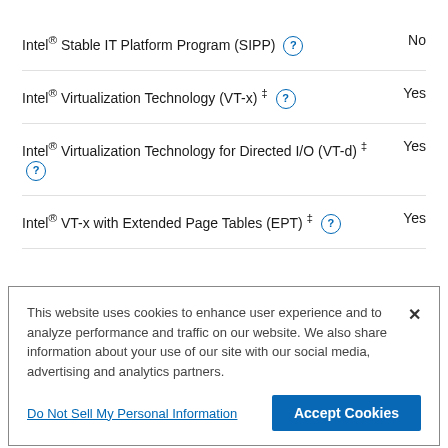Intel® Stable IT Platform Program (SIPP) — No
Intel® Virtualization Technology (VT-x) ‡ — Yes
Intel® Virtualization Technology for Directed I/O (VT-d) ‡ — Yes
Intel® VT-x with Extended Page Tables (EPT) ‡ — Yes
This website uses cookies to enhance user experience and to analyze performance and traffic on our website. We also share information about your use of our site with our social media, advertising and analytics partners.
Do Not Sell My Personal Information
Accept Cookies